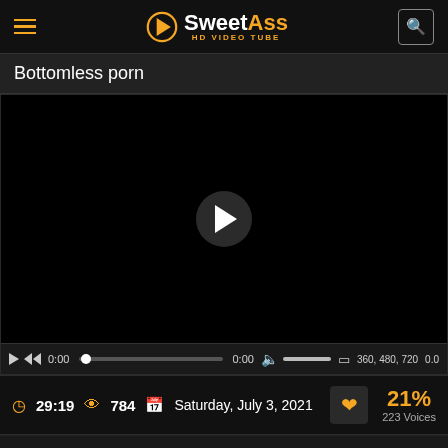SweetAss HD VIDEO TUBE
Bottomless porn
[Figure (screenshot): Video player with black screen and central play button, with playback controls bar showing 0:00 timestamp and quality options 360, 480, 720]
29:19  784  Saturday, July 3, 2021  21%  223 Voices